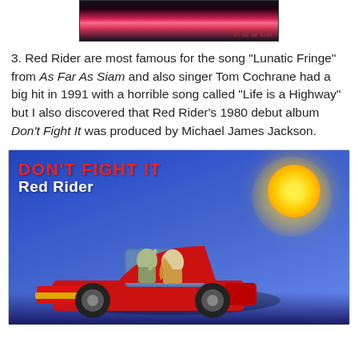[Figure (photo): A dark image with a reddish-pink glow in the center, appears to be a video screenshot with a timestamp in the lower right corner]
3. Red Rider are most famous for the song "Lunatic Fringe" from As Far As Siam and also singer Tom Cochrane had a big hit in 1991 with a horrible song called "Life is a Highway" but I also discovered that Red Rider's 1980 debut album Don't Fight It was produced by Michael James Jackson.
[Figure (illustration): Album cover for 'Don't Fight It' by Red Rider. Blue background with a large yellow-orange sun in the upper right. A red convertible car in the foreground with two illustrated people inside. Title 'DON'T FIGHT IT' in red text and 'Red Rider' in white text in the upper left.]